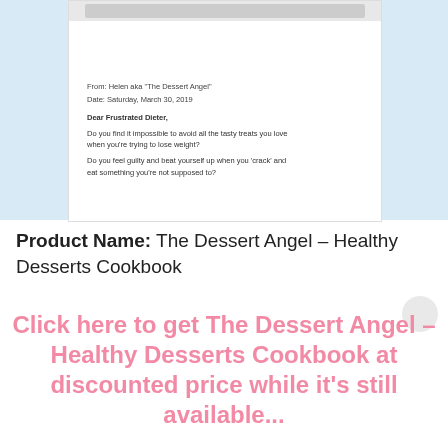[Figure (screenshot): Screenshot of a webpage/email letter with blue side panels. The letter shows: From: Helen aka 'The Dessert Angel', Date: Saturday, March 30, 2019, Dear Frustrated Dieter, followed by body text about avoiding tasty treats while losing weight and feeling guilty.]
Product Name: The Dessert Angel – Healthy Desserts Cookbook
Click here to get The Dessert Angel – Healthy Desserts Cookbook at discounted price while it's still available...